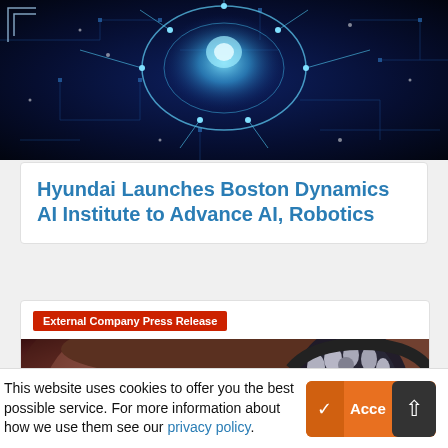[Figure (photo): Dark blue circuit board and AI/brain holographic image as hero banner]
Hyundai Launches Boston Dynamics AI Institute to Advance AI, Robotics
External Company Press Release
[Figure (photo): Close-up photo of a young person wearing decorative headphones, tinted red/dark]
This website uses cookies to offer you the best possible service. For more information about how we use them see our privacy policy.